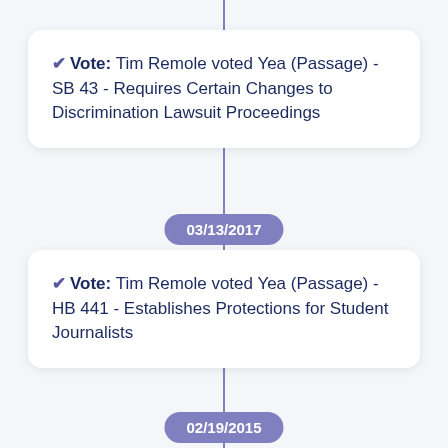✔ Vote: Tim Remole voted Yea (Passage) - SB 43 - Requires Certain Changes to Discrimination Lawsuit Proceedings
03/13/2017
✔ Vote: Tim Remole voted Yea (Passage) - HB 441 - Establishes Protections for Student Journalists
02/19/2015